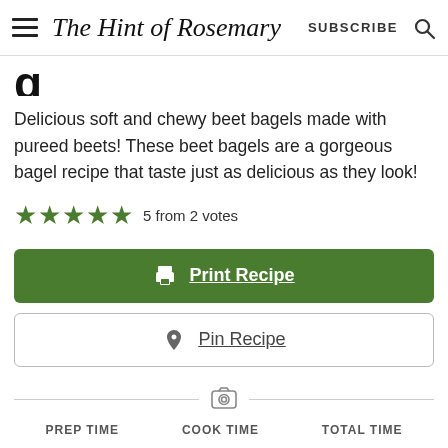The Hint of Rosemary — SUBSCRIBE
bagels (partial, cropped)
Delicious soft and chewy beet bagels made with pureed beets! These beet bagels are a gorgeous bagel recipe that taste just as delicious as they look!
5 from 2 votes
Print Recipe
Pin Recipe
PREP TIME   COOK TIME   TOTAL TIME